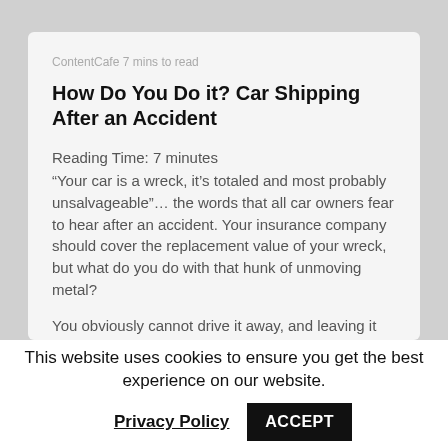ContentCafe 7 mins to read
How Do You Do it? Car Shipping After an Accident
Reading Time: 7 minutes
“Your car is a wreck, it’s totaled and most probably unsalvageable”… the words that all car owners fear to hear after an accident. Your insurance company should cover the replacement value of your wreck, but what do you do with that hunk of unmoving metal?
You obviously cannot drive it away, and leaving it on the sidewalk for the trash truck is out of the question, and perhaps a little illegal. Car shipping after an accident is the answer, and in this post we untangle the dos and don’ts and cans and cants of shipping damaged cars…
This website uses cookies to ensure you get the best experience on our website.
Privacy Policy
ACCEPT